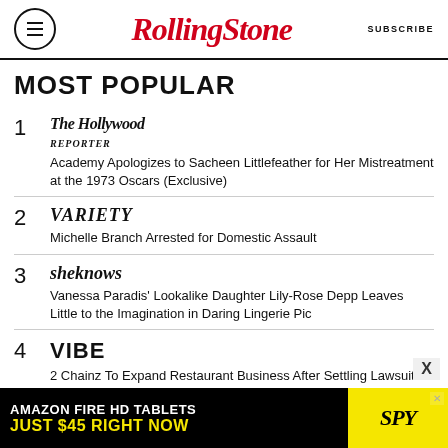Rolling Stone | SUBSCRIBE
MOST POPULAR
1 The Hollywood Reporter — Academy Apologizes to Sacheen Littlefeather for Her Mistreatment at the 1973 Oscars (Exclusive)
2 Variety — Michelle Branch Arrested for Domestic Assault
3 SheKnows — Vanessa Paradis' Lookalike Daughter Lily-Rose Depp Leaves Little to the Imagination in Daring Lingerie Pic
4 Vibe — 2 Chainz To Expand Restaurant Business After Settling Lawsuit With Pablo Escobar's Family
[Figure (screenshot): Amazon Fire HD Tablets advertisement — Just $45 Right Now — SPY]